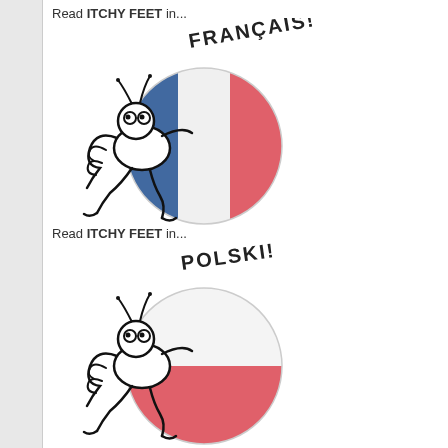Read ITCHY FEET in...
[Figure (illustration): Cartoon bug character pushing a circular French flag (blue, white, red vertical stripes) with text 'FRANÇAIS!' written in handwritten style above]
Read ITCHY FEET in...
[Figure (illustration): Cartoon bug character pushing a circular Polish flag (white top half, red bottom half) with text 'POLSKI!' written in handwritten style above]